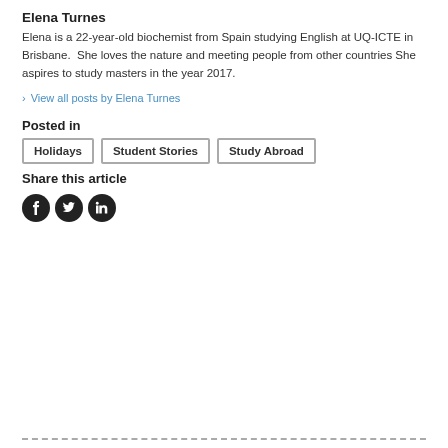Elena Turnes
Elena is a 22-year-old biochemist from Spain studying English at UQ-ICTE in Brisbane.  She loves the nature and meeting people from other countries She aspires to study masters in the year 2017.
> View all posts by Elena Turnes
Posted in
Holidays
Student Stories
Study Abroad
Share this article
[Figure (other): Social media icons: Facebook, Twitter, LinkedIn]